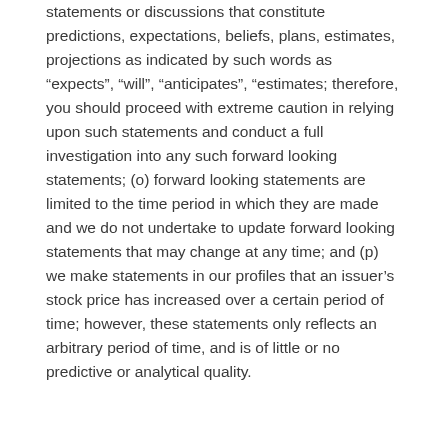statements or discussions that constitute predictions, expectations, beliefs, plans, estimates, projections as indicated by such words as “expects”, “will”, “anticipates”, “estimates; therefore, you should proceed with extreme caution in relying upon such statements and conduct a full investigation into any such forward looking statements; (o) forward looking statements are limited to the time period in which they are made and we do not undertake to update forward looking statements that may change at any time; and (p) we make statements in our profiles that an issuer’s stock price has increased over a certain period of time; however, these statements only reflects an arbitrary period of time, and is of little or no predictive or analytical quality.